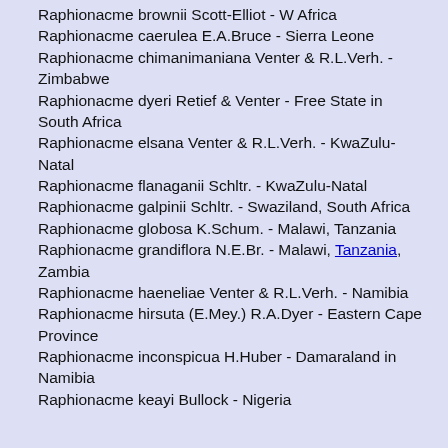Raphionacme brownii Scott-Elliot - W Africa
Raphionacme caerulea E.A.Bruce - Sierra Leone
Raphionacme chimanimaniana Venter & R.L.Verh. - Zimbabwe
Raphionacme dyeri Retief & Venter - Free State in South Africa
Raphionacme elsana Venter & R.L.Verh. - KwaZulu-Natal
Raphionacme flanaganii Schltr. - KwaZulu-Natal
Raphionacme galpinii Schltr. - Swaziland, South Africa
Raphionacme globosa K.Schum. - Malawi, Tanzania
Raphionacme grandiflora N.E.Br. - Malawi, Tanzania, Zambia
Raphionacme haeneliae Venter & R.L.Verh. - Namibia
Raphionacme hirsuta (E.Mey.) R.A.Dyer - Eastern Cape Province
Raphionacme inconspicua H.Huber - Damaraland in Namibia
Raphionacme keayi Bullock - Nigeria